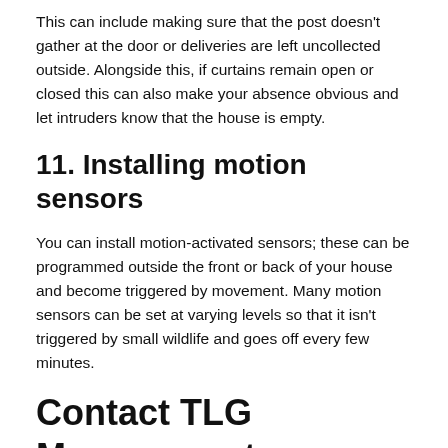This can include making sure that the post doesn't gather at the door or deliveries are left uncollected outside. Alongside this, if curtains remain open or closed this can also make your absence obvious and let intruders know that the house is empty.
11. Installing motion sensors
You can install motion-activated sensors; these can be programmed outside the front or back of your house and become triggered by movement. Many motion sensors can be set at varying levels so that it isn't triggered by small wildlife and goes off every few minutes.
Contact TLG Management
Here at TLG Management (UK) Ltd, we provide a wide range of security services across Birmingham, Coventry, Sutton Coldfield & Wolverhampton. Call us now on 0845 118 0002, alternatively, you can visit our dog handling page for more information, or